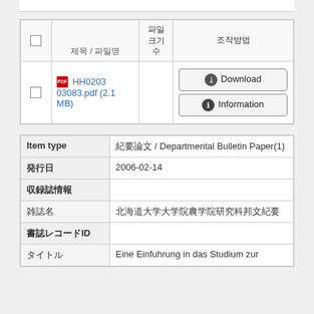|  | 제목 / 파일명 | 파일
크기
수 | 조작방법 |
| --- | --- | --- | --- |
| ☐ | HH020303083.pdf (2.1 MB) |  | Download / Information |
| Item type | 발행日 | 수록誌情報 | 書誌情報 |
| --- | --- | --- | --- |
| Item type | 紀要論文 / Departmental Bulletin Paper(1) |  |  |
| 発行日 | 2006-02-14 |  |  |
| 収録誌情報 |  |  |  |
|  | 雑誌名 | 北海道大学大学院農学院研究科邦文紀要 |  |
| 書誌レコードID |  |  |  |
|  | タイトル | Eine Einfuhrung in das Studium zur |  |